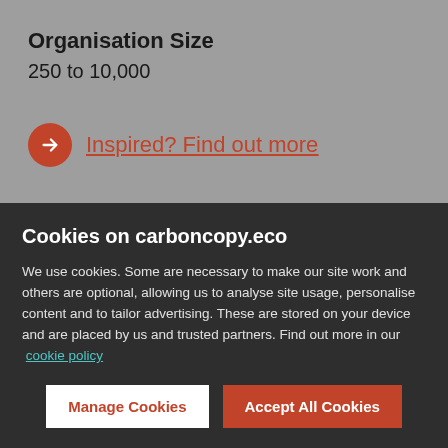Organisation Size
250 to 10,000
Inspired? Find out more
Other stories
Cookies on carboncopy.eco
We use cookies. Some are necessary to make our site work and others are optional, allowing us to analyse site usage, personalise content and to tailor advertising. These are stored on your device and are placed by us and trusted partners. Find out more in our cookie policy
Manage Cookies
Accept All Cookies